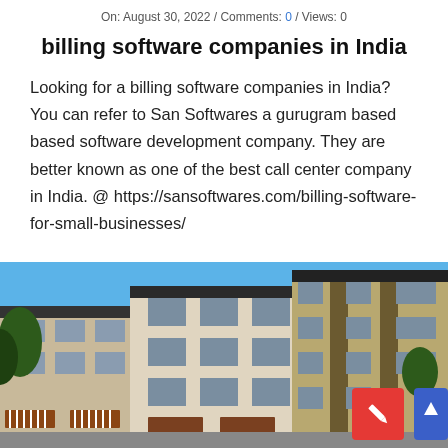On: August 30, 2022 / Comments: 0 / Views: 0
billing software companies in India
Looking for a billing software companies in India? You can refer to San Softwares a gurugram based based software development company. They are better known as one of the best call center company in India. @ https://sansoftwares.com/billing-software-for-small-businesses/
[Figure (photo): Exterior photo of modern multi-story residential or commercial buildings with blue sky background, featuring tan and dark facades, multiple windows, awnings, and trees.]